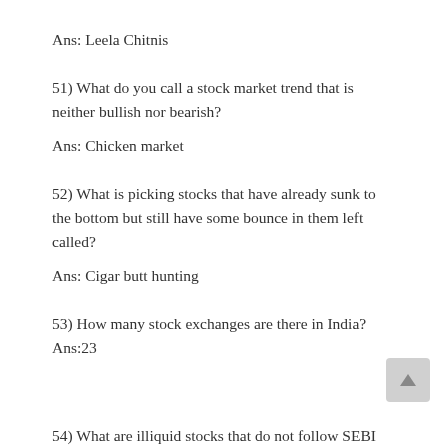Ans: Leela Chitnis
51) What do you call a stock market trend that is neither bullish nor bearish?
Ans: Chicken market
52) What is picking stocks that have already sunk to the bottom but still have some bounce in them left called?
Ans: Cigar butt hunting
53) How many stock exchanges are there in India?
Ans:23
54) What are illiquid stocks that do not follow SEBI